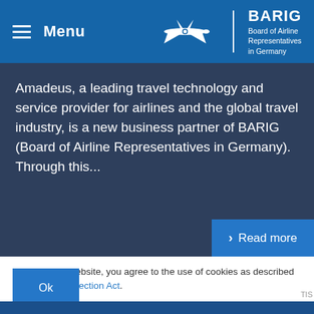Menu | BARIG Board of Airline Representatives in Germany
Amadeus, a leading travel technology and service provider for airlines and the global travel industry, is a new business partner of BARIG (Board of Airline Representatives in Germany). Through this...
Read more
By using this website, you agree to the use of cookies as described in our Data Protection Act.
Ok